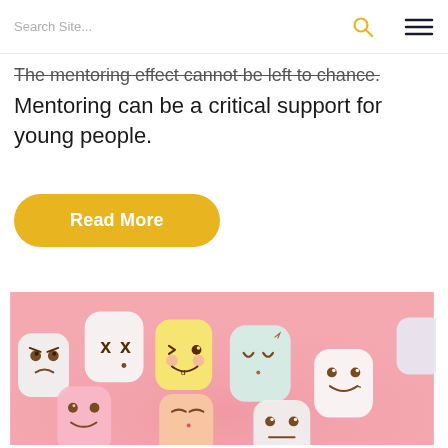Search Site...
The mentoring effect cannot be left to chance. Mentoring can be a critical support for young people.
Read More
[Figure (photo): Photo of multiple colorful marshmallows with cute kawaii faces drawn on them, arranged on a pink background. Expressions include angry, surprised, happy, sleepy, and other emotions.]